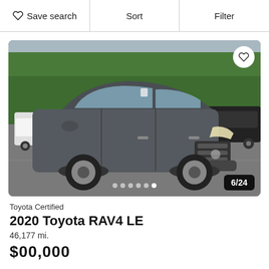Save search   Sort   Filter
[Figure (photo): Gray 2020 Toyota RAV4 LE SUV in a dealership parking lot, front three-quarter view, with other vehicles and trees in background. Shows image counter 6/24 and navigation dots.]
Toyota Certified
2020 Toyota RAV4 LE
46,177 mi.
$00,000